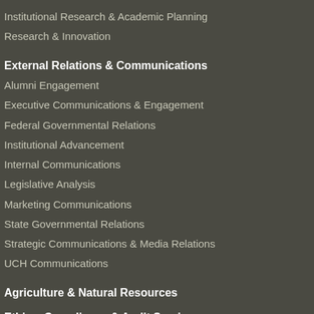Institutional Research & Academic Planning
Research & Innovation
External Relations & Communications
Alumni Engagement
Executive Communications & Engagement
Federal Governmental Relations
Institutional Advancement
Internal Communications
Legislative Analysis
Marketing Communications
State Governmental Relations
Strategic Communications & Media Relations
UCH Communications
Agriculture & Natural Resources
Ethics, Compliance & Audit Services